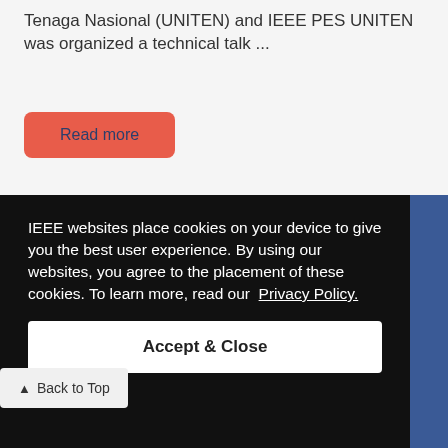Tenaga Nasional (UNITEN) and IEEE PES UNITEN was organized a technical talk ...
Read more
IEEE websites place cookies on your device to give you the best user experience. By using our websites, you agree to the placement of these cookies. To learn more, read our Privacy Policy.
Accept & Close
Back to Top